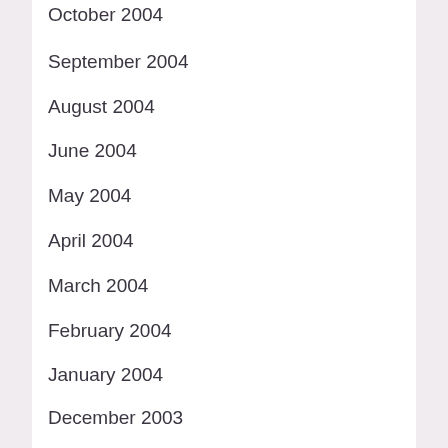October 2004
September 2004
August 2004
June 2004
May 2004
April 2004
March 2004
February 2004
January 2004
December 2003
November 2003
October 2003